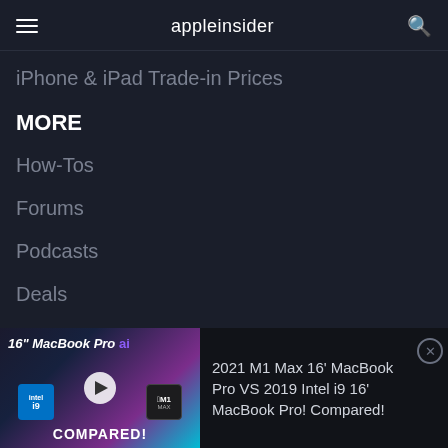appleinsider
iPhone & iPad Trade-in Prices
MORE
How-Tos
Forums
Podcasts
Deals
Videos
[Figure (screenshot): Ad banner for a YouTube video comparing 16 inch MacBook Pro models: '2021 M1 Max 16' MacBook Pro VS 2019 Intel i9 16' MacBook Pro! Compared!']